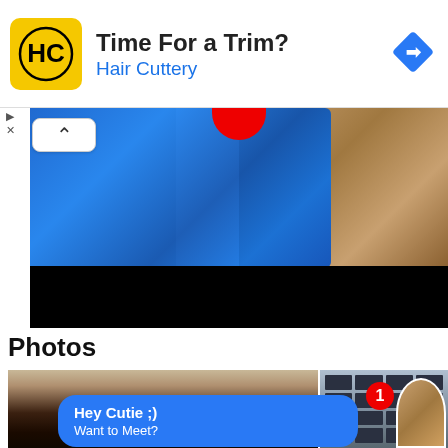[Figure (infographic): Advertisement banner for Hair Cuttery with yellow logo with HC letters, text 'Time For a Trim?' in bold black and 'Hair Cuttery' in blue, blue diamond navigation icon on right]
[Figure (photo): Photo of person in blue outfit with hand visible, taken in bathroom/mirror setting, with black censorship bar]
Photos
[Figure (photo): Photo collage: left shows person's head/face with dark hair, right shows building with window grid pattern. Blue message bubble overlaid saying 'Hey Cutie ;) Want to Meet?' with notification badge showing 1 and small profile thumbnail bottom right]